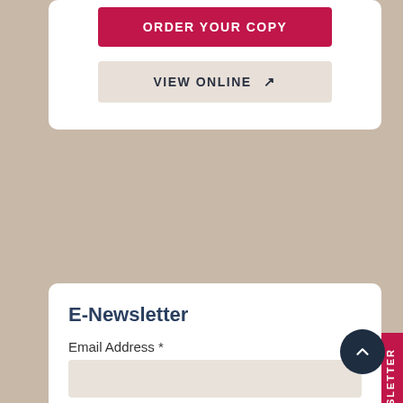ORDER YOUR COPY
VIEW ONLINE
E-Newsletter
Email Address *
First Name
Last Name
SUBMIT
NEWSLETTER